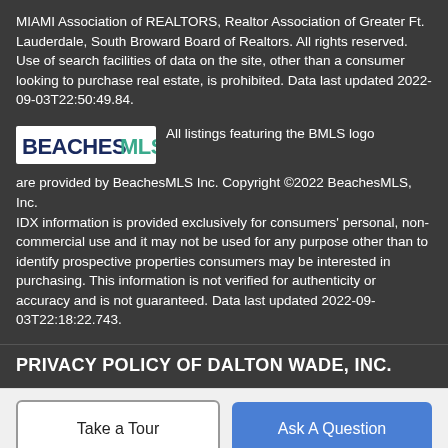MIAMI Association of REALTORS, Realtor Association of Greater Ft. Lauderdale, South Broward Board of Realtors. All rights reserved. Use of search facilities of data on the site, other than a consumer looking to purchase real estate, is prohibited. Data last updated 2022-09-03T22:50:49.84.
[Figure (logo): BeachesMLS logo — BEACHES in dark blue bold, MLS in teal/green bold]
All listings featuring the BMLS logo are provided by BeachesMLS Inc. Copyright ©2022 BeachesMLS, Inc.
IDX information is provided exclusively for consumers' personal, non-commercial use and it may not be used for any purpose other than to identify prospective properties consumers may be interested in purchasing. This information is not verified for authenticity or accuracy and is not guaranteed. Data last updated 2022-09-03T22:18:22.743.
PRIVACY POLICY OF DALTON WADE, INC.
Take a Tour
Ask A Question